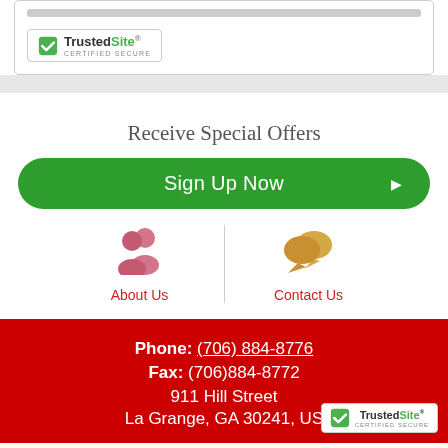[Figure (logo): TrustedSite Certified Secure badge with green checkmark]
Receive Special Offers
Sign Up Now ▶
[Figure (illustration): About Us icon showing two person silhouettes in pink/rose color]
About Us
[Figure (illustration): Contact Us icon showing two speech bubbles in gold/orange color]
Contact Us
Phone: (706) 884-8776 Fax: (706)884-8772 911 Hill Street La Grange, GA 30241, US
[Figure (logo): TrustedSite Certified Secure badge in footer]